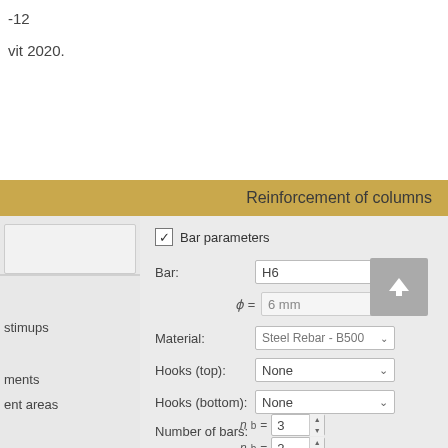-12
vit 2020.
Reinforcement of columns
[Figure (screenshot): Software dialog panel showing reinforcement of columns settings with Bar parameters checkbox, Bar dropdown (H6), phi = 6 mm, Material (Steel Rebar - B500), Hooks (top): None, Hooks (bottom): None, Number of bars fields with n_b = 3 and n_b = 2, and an upload button.]
stimups
ments
ent areas